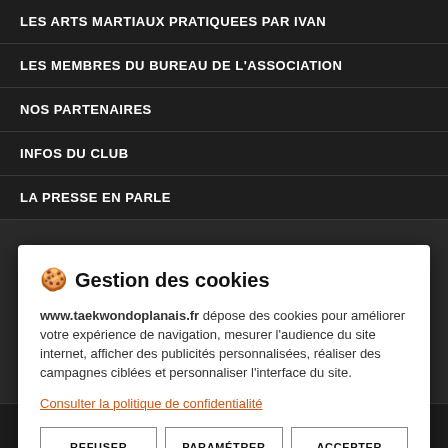LES ARTS MARTIAUX PRATIQUEES PAR IVAN
LES MEMBRES DU BUREAU DE L'ASSOCIATION
NOS PARTENAIRES
INFOS DU CLUB
LA PRESSE EN PARLE
🍪 Gestion des cookies
www.taekwondoplanais.fr dépose des cookies pour améliorer votre expérience de navigation, mesurer l'audience du site internet, afficher des publicités personnalisées, réaliser des campagnes ciblées et personnaliser l'interface du site.
Consulter la politique de confidentialité
REFUSER | PARAMÉTRER | ACCEPTER
A quoi sert un Art Martial ?